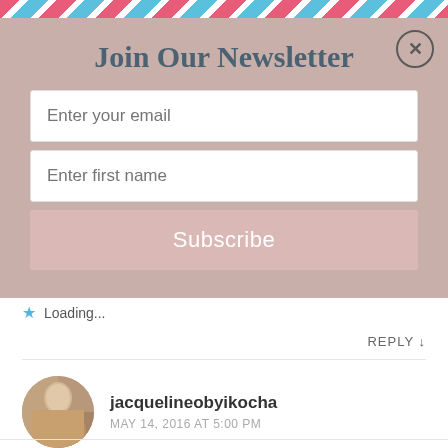Airmail decorative border
Join Our Newsletter
Enter your email
Enter first name
Subscribe
Loading...
REPLY ↓
jacquelineobyikocha
MAY 14, 2016 AT 5:00 PM
My pleasure
Loading...
REPLY ↓